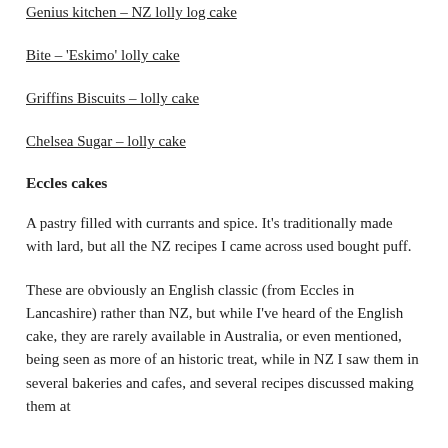Genius kitchen – NZ lolly log cake
Bite – 'Eskimo' lolly cake
Griffins Biscuits – lolly cake
Chelsea Sugar – lolly cake
Eccles cakes
A pastry filled with currants and spice. It's traditionally made with lard, but all the NZ recipes I came across used bought puff.
These are obviously an English classic (from Eccles in Lancashire) rather than NZ, but while I've heard of the English cake, they are rarely available in Australia, or even mentioned, being seen as more of an historic treat, while in NZ I saw them in several bakeries and cafes, and several recipes discussed making them at